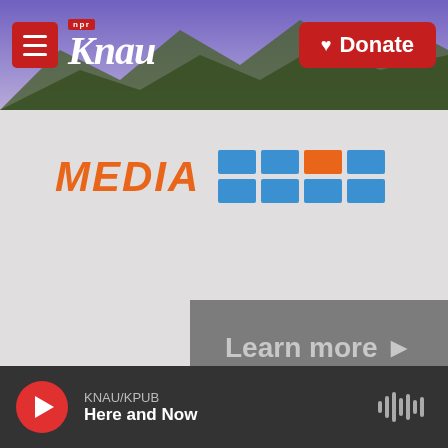KNAU NPR | Donate
[Figure (screenshot): KNAU/NPR public radio website screenshot showing header with hamburger menu, KNAU logo, and red Donate button on purple mountain background. Below is a media literacy promotional banner with orange MEDIA text and blue grid icon, a grey Learn more button, and a white section with article title 'What We Know, And What You Can Do To Help' and a dark Learn More button.]
What We Know, And What You Can Do To Help
Learn More
KNAU/KPUB
Here and Now